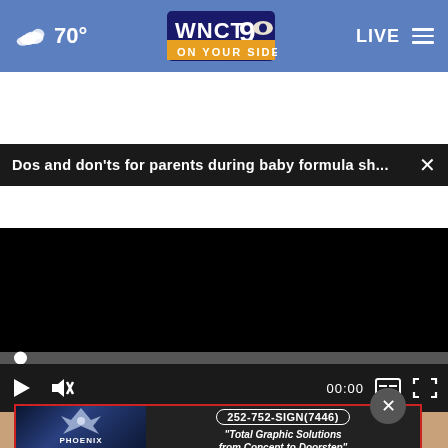70° WNCT 9 ON YOUR SIDE LIVE
Dos and don'ts for parents during baby formula sh...
[Figure (screenshot): Black video player with playback controls: play button, mute button, time display 00:00, subtitle and fullscreen buttons. Progress bar at top with white dot indicator at beginning.]
[Figure (photo): Partial view of hands/objects on a surface visible below the video player.]
[Figure (other): Phoenix Sign Pros advertisement banner: 252-752-SIGN(7446) Total Graphic Solutions from Concept to Doorstep]